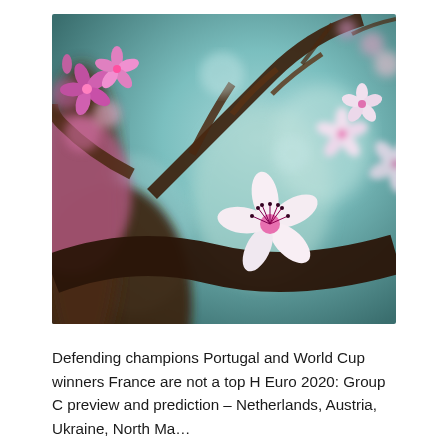[Figure (photo): Close-up photograph of cherry blossom branches with pink and white flowers against a blurred teal/blue and brown bokeh background. The flowers have delicate white petals with pink/purple centers and dark stamens.]
Defending champions Portugal and World Cup winners France are not a top H Euro 2020: Group C preview and prediction – Netherlands, Austria, Ukraine, North Macedonia in the Ko…